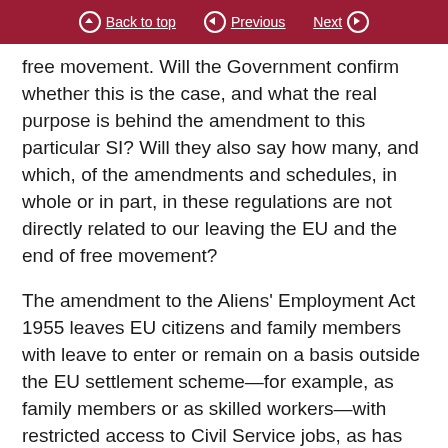Back to top  Previous  Next
free movement. Will the Government confirm whether this is the case, and what the real purpose is behind the amendment to this particular SI? Will they also say how many, and which, of the amendments and schedules, in whole or in part, in these regulations are not directly related to our leaving the EU and the end of free movement?
The amendment to the Aliens' Employment Act 1955 leaves EU citizens and family members with leave to enter or remain on a basis outside the EU settlement scheme—for example, as family members or as skilled workers—with restricted access to Civil Service jobs, as has already been mentioned. This issue was raised in the Commons, when the government answer was that it was right